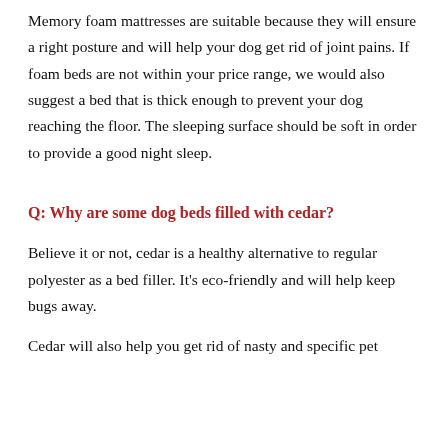Memory foam mattresses are suitable because they will ensure a right posture and will help your dog get rid of joint pains. If foam beds are not within your price range, we would also suggest a bed that is thick enough to prevent your dog reaching the floor. The sleeping surface should be soft in order to provide a good night sleep.
Q: Why are some dog beds filled with cedar?
Believe it or not, cedar is a healthy alternative to regular polyester as a bed filler. It's eco-friendly and will help keep bugs away.
Cedar will also help you get rid of nasty and specific pet